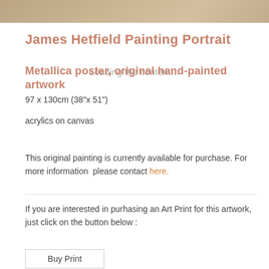[Figure (photo): Top portion of a painting portrait of James Hetfield, showing partial face and background]
James Hetfield Painting Portrait
Loading the content...
Metallica poster, original hand-painted artwork
97 x 130cm (38"x 51")
acrylics on canvas
This original painting is currently available for purchase. For more information  please contact here.
If you are interested in purhasing an Art Print for this artwork, just click on the button below :
Buy Print